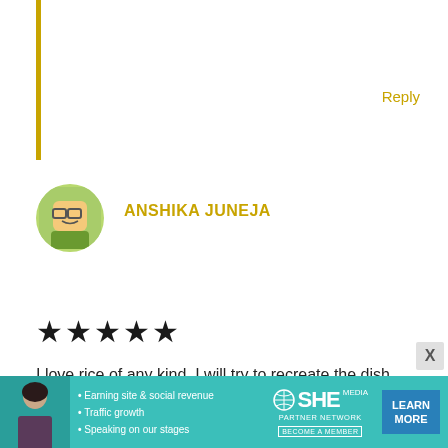Reply
[Figure (illustration): Avatar icon of Anshika Juneja – cartoon face with glasses on green background]
ANSHIKA JUNEJA
★★★★★ (5 stars)
I love rice of any kind. I will try to recreate the dish and substitute salmon with more vegetables. I'm sure it will turn out delicious.
Reply
[Figure (photo): Avatar photo of Stephanie – woman with blonde hair]
STEPHANIE
The glaze is amazing on the vegetables, so it would definitely be good even with more vegetables instead of the salmon on
[Figure (infographic): SHE Media Partner Network advertisement banner with bullet points: Earning site & social revenue, Traffic growth, Speaking on our stages. Learn More button.]